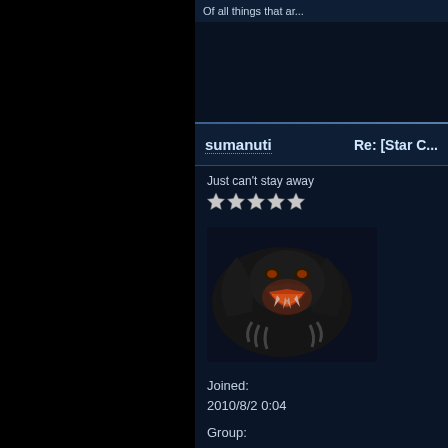Of all things that ar...
sumanuti
Re: [Star C...
Just can't stay away
[Figure (illustration): Dark fantasy creature avatar - a black panther or alien creature with orange glowing mouth/fangs, rendered in dark tones]
Joined: 2010/8/2 0:04
Group: Registered Users FLServer Admins
Posts: 464